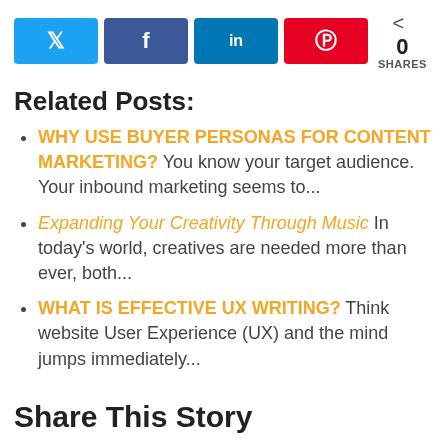[Figure (infographic): Social share buttons: Twitter (light blue), Facebook (dark blue), LinkedIn (medium blue), Pinterest (red), and a share count showing 0 SHARES]
Related Posts:
WHY USE BUYER PERSONAS FOR CONTENT MARKETING? You know your target audience. Your inbound marketing seems to...
Expanding Your Creativity Through Music In today's world, creatives are needed more than ever, both...
WHAT IS EFFECTIVE UX WRITING? Think website User Experience (UX) and the mind jumps immediately...
Share This Story